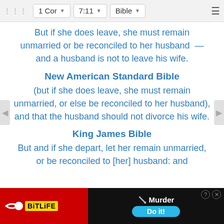1 Cor  7:11  Bible
But if she does leave, she must remain unmarried or be reconciled to her husband  —and a husband is not to leave his wife.
New American Standard Bible
(but if she does leave, she must remain unmarried, or else be reconciled to her husband), and that the husband should not divorce his wife.
King James Bible
But and if she depart, let her remain unmarried, or be reconciled to [her] husband: and
[Figure (screenshot): BitLife advertisement banner with red background, sperm logo, yellow BitLife text, dark right panel showing 'Murder' with a knife icon, a blue 'Do it!' button, and close/help icons.]